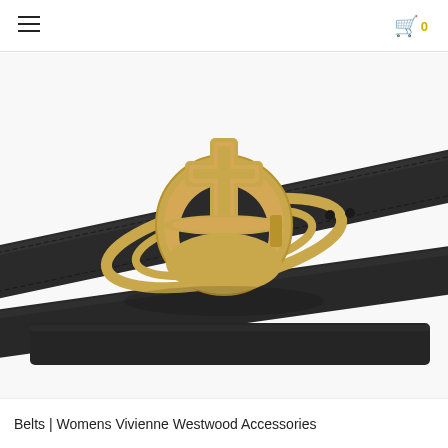navigation header with hamburger menu and cart icon showing 0
[Figure (photo): Close-up photo of a black leather belt with a gold-tone Vivienne Westwood Orb buckle featuring a cross/orb design on a white background]
Belts | Womens Vivienne Westwood Accessories